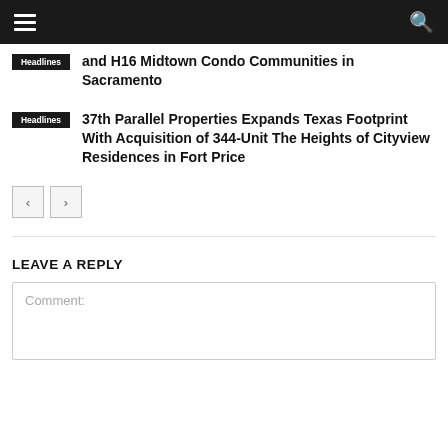≡  [search icon]
and H16 Midtown Condo Communities in Sacramento
37th Parallel Properties Expands Texas Footprint With Acquisition of 344-Unit The Heights of Cityview Residences in Fort Price
< >
LEAVE A REPLY
Comment: